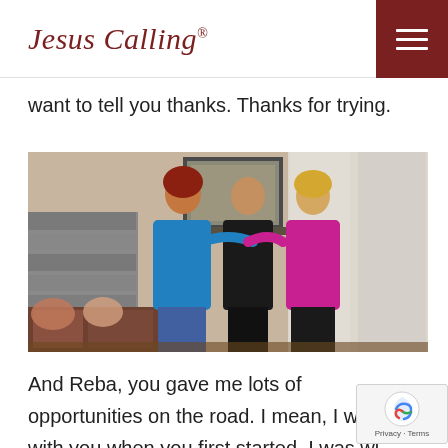Jesus Calling®
want to tell you thanks. Thanks for trying.
[Figure (photo): Three women hugging and kissing each other on the cheeks, standing in a room with curtains and a framed picture on the wall, with a couch with pillows visible in the lower left.]
And Reba, you gave me lots of opportunities on the road. I mean, I went with you when you first started. I was wi